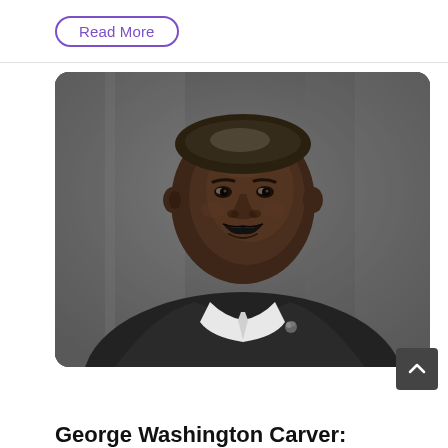Read More
[Figure (photo): Black and white portrait photograph of George Washington Carver, an African American man wearing a suit and tie with a flower boutonniere, with a mustache, looking slightly to the side.]
George Washington Carver: